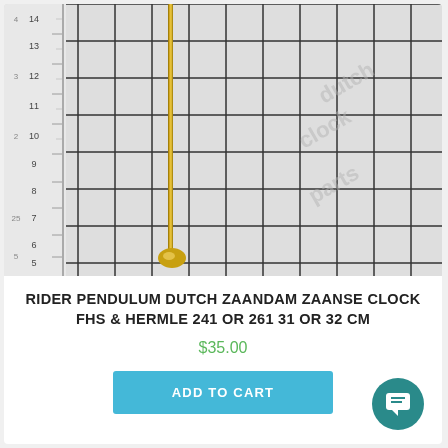[Figure (photo): Close-up photo of a gold brass pendulum rod with a small brass ball/bob at the bottom, photographed against a white grid background with a ruler along the left side showing centimeter measurements. A 'dutch clock parts' watermark appears diagonally in the upper right.]
RIDER PENDULUM DUTCH ZAANDAM ZAANSE CLOCK FHS & HERMLE 241 OR 261 31 OR 32 CM
$35.00
ADD TO CART